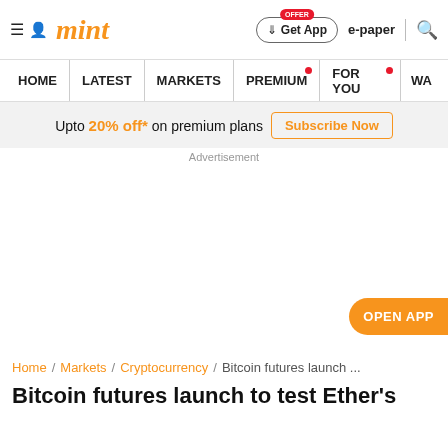mint
HOME | LATEST | MARKETS | PREMIUM | FOR YOU | WA...
Upto 20% off* on premium plans — Subscribe Now
Advertisement
OPEN APP
Home / Markets / Cryptocurrency / Bitcoin futures launch ...
Bitcoin futures launch to test Ether's